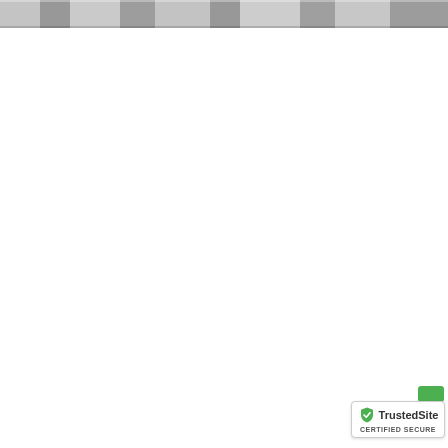[Figure (photo): A horizontal banner image at the top of the page showing a collage of people in grayscale tones with alternating lighter and darker sections, spanning the full width of the page.]
[Figure (logo): TrustedSite certified secure badge in the bottom right corner. Contains a green checkmark shield logo, the text 'TrustedSite' in bold, and 'CERTIFIED SECURE' in small caps below.]